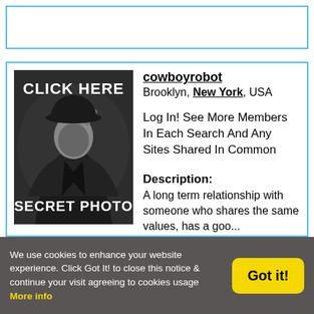[Figure (other): Empty top banner box with blue border]
[Figure (photo): Black and white silhouette photo of person with hat labeled CLICK HERE and SECRET PHOTO]
cowboyrobot
Brooklyn, New York, USA
Log In! See More Members In Each Search And Any Sites Shared In Common
Description:
A long term relationship with someone who shares the same values, has a goo...
We use cookies to enhance your website experience. Click Got It! to close this notice & continue your visit agreeing to cookies usage More info